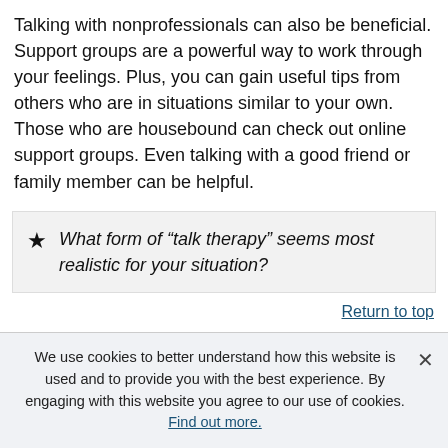Talking with nonprofessionals can also be beneficial. Support groups are a powerful way to work through your feelings. Plus, you can gain useful tips from others who are in situations similar to your own. Those who are housebound can check out online support groups. Even talking with a good friend or family member can be helpful.
What form of “talk therapy” seems most realistic for your situation?
Return to top
The holiday blues
We use cookies to better understand how this website is used and to provide you with the best experience. By engaging with this website you agree to our use of cookies. Find out more.